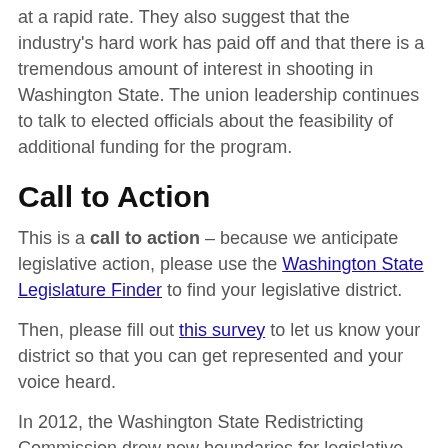at a rapid rate. They also suggest that the industry's hard work has paid off and that there is a tremendous amount of interest in shooting in Washington State. The union leadership continues to talk to elected officials about the feasibility of additional funding for the program.
Call to Action
This is a call to action – because we anticipate legislative action, please use the Washington State Legislature Finder to find your legislative district.
Then, please fill out this survey to let us know your district so that you can get represented and your voice heard.
In 2012, the Washington State Redistricting Commission drew new boundaries for legislative districts. It's quite possible that your legislative district has changed. Please take a moment and identify your